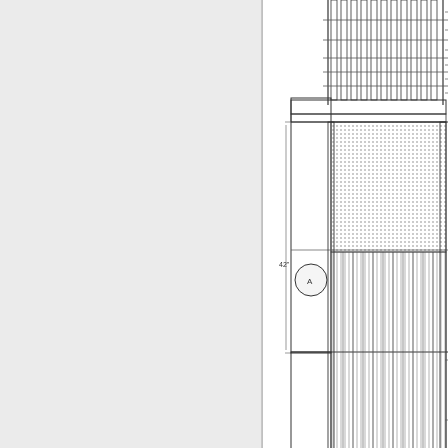[Figure (engineering-diagram): Technical cross-section engineering diagram showing a cylindrical structural connection detail with two bolt/connection circles labeled A and B, hatched areas indicating concrete or fill, vertical ribbed members, dimension annotations including '42"' and '60"', and leader lines extending off the right edge of the visible area.]
Figure 7. Diagram. Co...
The top and bottom connections are different because, e... both locations, the construction needs are not. A spread t...